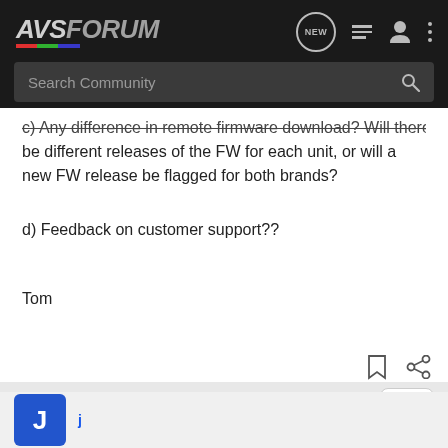AVS FORUM — navigation bar with search
c) Any difference in remote firmware download? Will there be different releases of the FW for each unit, or will a new FW release be flagged for both brands?
d) Feedback on customer support??
Tom
[Figure (screenshot): NAD M33 Amplifier advertisement banner at bottom of page]